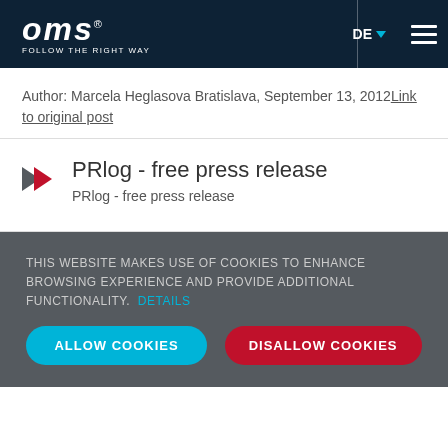OMS FOLLOW THE RIGHT WAY | DE | menu
Author: Marcela Heglasova Bratislava, September 13, 2012 Link to original post
PRlog - free press release
PRlog - free press release
THIS WEBSITE MAKES USE OF COOKIES TO ENHANCE BROWSING EXPERIENCE AND PROVIDE ADDITIONAL FUNCTIONALITY. DETAILS
ALLOW COOKIES | DISALLOW COOKIES